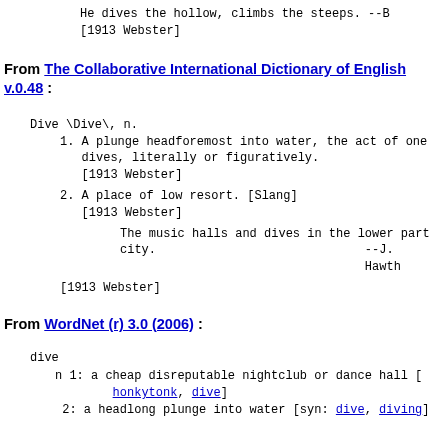He dives the hollow, climbs the steeps. --B
[1913 Webster]
From The Collaborative International Dictionary of English v.0.48 :
Dive \Dive\, n.
1. A plunge headforemost into water, the act of one dives, literally or figuratively.
[1913 Webster]
2. A place of low resort. [Slang]
[1913 Webster]
The music halls and dives in the lower part city.
--J. Hawth
[1913 Webster]
From WordNet (r) 3.0 (2006) :
dive
n 1: a cheap disreputable nightclub or dance hall [honkytonk, dive]
2: a headlong plunge into water [syn: dive, diving]